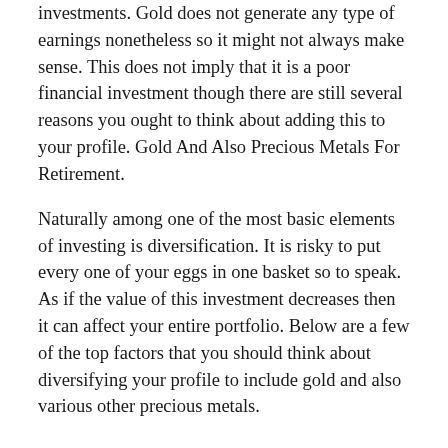investments. Gold does not generate any type of earnings nonetheless so it might not always make sense. This does not imply that it is a poor financial investment though there are still several reasons you ought to think about adding this to your profile. Gold And Also Precious Metals For Retirement.
Naturally among one of the most basic elements of investing is diversification. It is risky to put every one of your eggs in one basket so to speak. As if the value of this investment decreases then it can affect your entire portfolio. Below are a few of the top factors that you should think about diversifying your profile to include gold and also various other precious metals.
Leading Reasons To Have Gold In Your Pension
Self-Directed
Can Hold Numerous Rare-earth Elements.